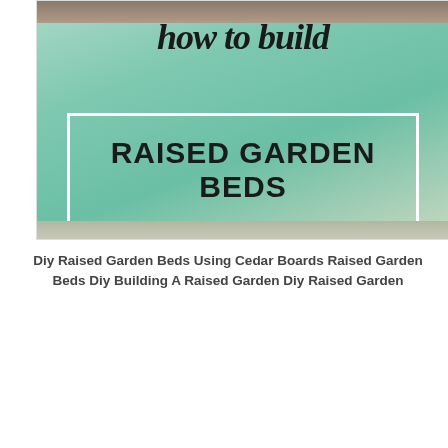[Figure (photo): DIY raised garden beds tutorial image with script text 'how to build' and box text 'RAISED GARDEN BEDS' on a mint/teal green background]
Diy Raised Garden Beds Using Cedar Boards Raised Garden Beds Diy Building A Raised Garden Diy Raised Garden
[Figure (photo): DIY Planter Box for backyard gardening image with large white text on dark garden/outdoor background]